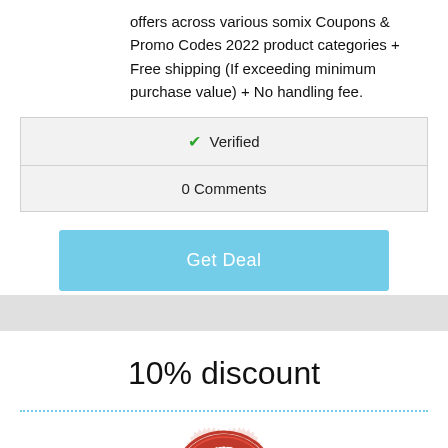offers across various somix Coupons & Promo Codes 2022 product categories + Free shipping (If exceeding minimum purchase value) + No handling fee.
| ✔ Verified |
| 0 Comments |
Get Deal
10% discount
[Figure (illustration): A red stamp badge reading GREAT DEAL with decorative border and stars]